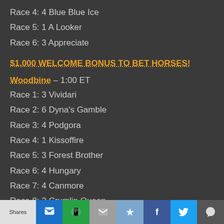Race 4: 4 Blue Blue Ice
Race 5: 1 A Looker
Race 6: 3 Appreciate
$1,000 WELCOME BONUS TO BET HORSES!
Woodbine – 1:00 ET
Race 1: 3 Vividari
Race 2: 6 Dyna's Gamble
Race 3: 4 Podgora
Race 4: 1 Kissoffire
Race 5: 3 Forest Brother
Race 6: 4 Hungary
Race 7: 4 Canmore
Race 8: 2 Crumlin Queen
Shares | social share buttons